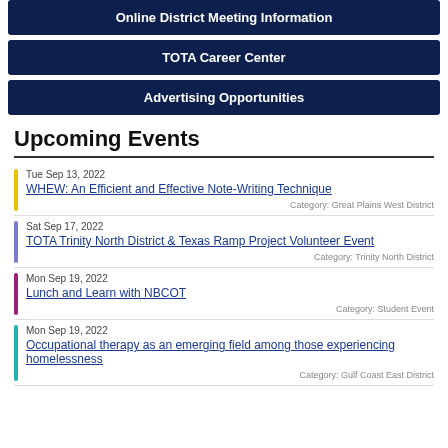Online District Meeting Information
TOTA Career Center
Advertising Opportunities
Upcoming Events
Tue Sep 13, 2022 | WHEW: An Efficient and Effective Note-Writing Technique | Category: Great Plains West District
Sat Sep 17, 2022 | TOTA Trinity North District & Texas Ramp Project Volunteer Event | Category: Trinity North District
Mon Sep 19, 2022 | Lunch and Learn with NBCOT | Category: Student Event
Mon Sep 19, 2022 | Occupational therapy as an emerging field among those experiencing homelessness | Category: Gulf Coast East District